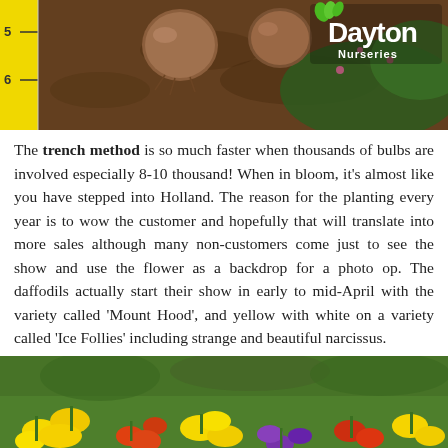[Figure (photo): Photo of bulbs in soil with a yellow ruler showing measurements 5 and 6, and a Dayton Nurseries logo in the top right corner.]
The trench method is so much faster when thousands of bulbs are involved especially 8-10 thousand! When in bloom, it's almost like you have stepped into Holland. The reason for the planting every year is to wow the customer and hopefully that will translate into more sales although many non-customers come just to see the show and use the flower as a backdrop for a photo op. The daffodils actually start their show in early to mid-April with the variety called 'Mount Hood', and yellow with white on a variety called 'Ice Follies' including strange and beautiful narcissus.
[Figure (photo): Photo of a field of blooming daffodils in yellow, orange, red and purple colors growing in green grass.]